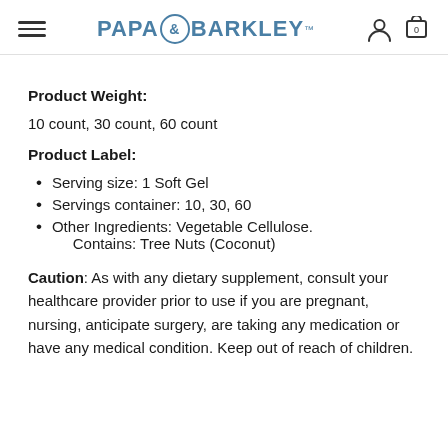PAPA & BARKLEY
Product Weight:
10 count, 30 count, 60 count
Product Label:
Serving size: 1 Soft Gel
Servings container: 10, 30, 60
Other Ingredients: Vegetable Cellulose. Contains: Tree Nuts (Coconut)
Caution: As with any dietary supplement, consult your healthcare provider prior to use if you are pregnant, nursing, anticipate surgery, are taking any medication or have any medical condition. Keep out of reach of children.